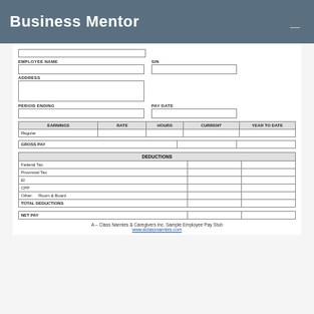Business Mentor
| EMPLOYEE NAME |  | SIN |  |
| ADDRESS |  |
| PERIOD ENDING |  | PAY DATE |  |
| EARNINGS | RATE | HOURS | CURRENT | YEAR TO DATE |
| --- | --- | --- | --- | --- |
| Regular |  |  |  |  |
| GROSS PAY |  |  |
| DEDUCTIONS |
| --- |
| Federal Tax |  |  |
| Provincial Tax |  |  |
| EI |  |  |
| CPP |  |  |
| Other:   Room & Board |  |  |
| TOTAL DEDUCTIONS |  |  |
| NET PAY |  |  |
A – Class Nannies & Caregivers Inc. Sample Employee Pay Stub
www.aclassnannies.com